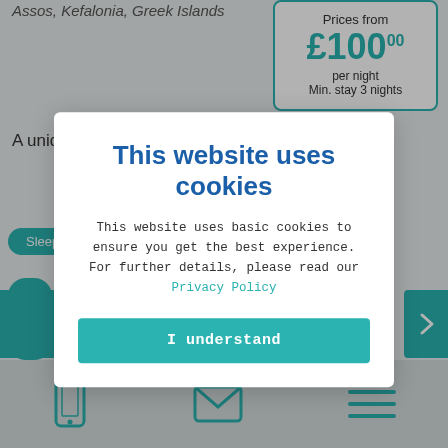Assos, Kefalonia, Greek Islands
Prices from £100.00 per night Min. stay 3 nights
A unique one of a kind villa
Sleeps 6
3 bedrooms
This website uses cookies
This website uses basic cookies to ensure you get the best experience. For further details, please read our Privacy Policy
I understand